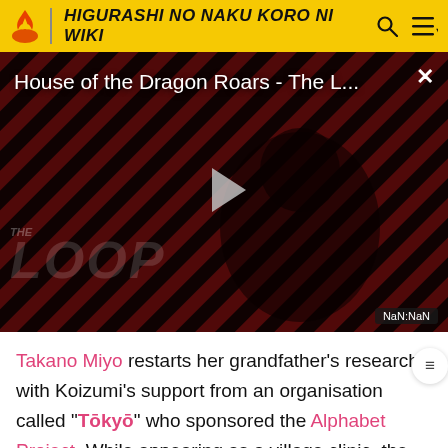HIGURASHI NO NAKU KORO NI WIKI
[Figure (screenshot): Video thumbnail for 'House of the Dragon Roars - The L...' with diagonal red and black stripes background, a dark figure silhouette, play button in center, THE LOOP watermark, and NaN:NaN timestamp badge.]
Takano Miyo restarts her grandfather's research with Koizumi's support from an organisation called "Tōkyō" who sponsored the Alphabet Project. While appearing as a village clinic, the Irie Clinic is actually an institute complete with secret underground facilities devoted to